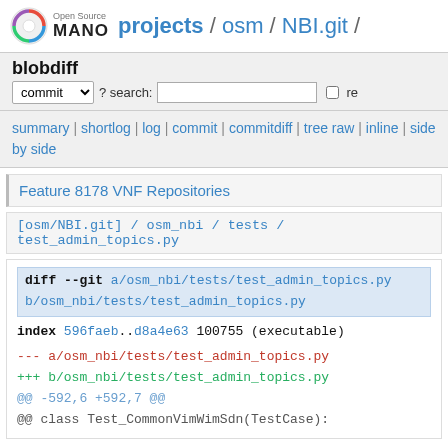Open Source MANO  projects / osm / NBI.git /
blobdiff
commit ? search: re
summary | shortlog | log | commit | commitdiff | tree raw | inline | side by side
Feature 8178 VNF Repositories
[osm/NBI.git] / osm_nbi / tests / test_admin_topics.py
diff --git a/osm_nbi/tests/test_admin_topics.py b/osm_nbi/tests/test_admin_topics.py
index 596faeb..d8a4e63 100755 (executable)
--- a/osm_nbi/tests/test_admin_topics.py
+++ b/osm_nbi/tests/test_admin_topics.py
@@ -592,6 +592,7 @@
@@ class Test_CommonVimWimSdn(TestCase):